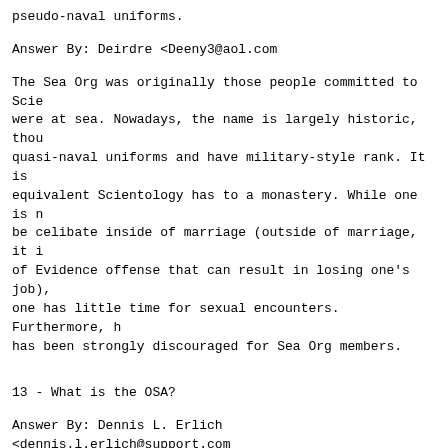pseudo-naval uniforms.
Answer By: Deirdre <Deeny3@aol.com
The Sea Org was originally those people committed to Scie were at sea. Nowadays, the name is largely historic, thou quasi-naval uniforms and have military-style rank. It is equivalent Scientology has to a monastery. While one is n be celibate inside of marriage (outside of marriage, it of Evidence offense that can result in losing one's job), one has little time for sexual encounters. Furthermore, h has been strongly discouraged for Sea Org members.
13 - What is the OSA?
Answer By: Dennis L. Erlich <dennis.l.erlich@support.com
Scientology Office of Special Affairs. It is the KGB-lik cult which uses any means to silence critics and to infi legitimate groups to gain acceptance for or crush critics scientology. It is the (CMO) replacement for the disgrace Guardians Office which, in the 70s, infiltrated and broke government offices and stole documents critical of the cu
These operations landed Hubbard's wife in Federal Prison wanted man until he died in the early 80s.
All legal and covert operations of the cult are directed